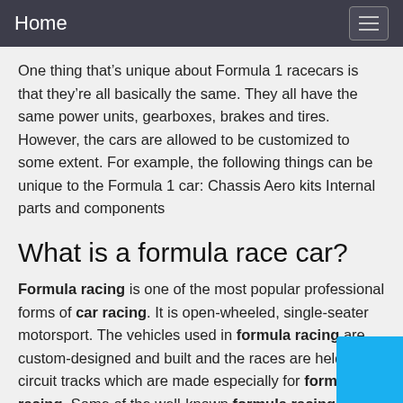Home
One thing that’s unique about Formula 1 racecars is that they’re all basically the same. They all have the same power units, gearboxes, brakes and tires. However, the cars are allowed to be customized to some extent. For example, the following things can be unique to the Formula 1 car: Chassis Aero kits Internal parts and components
What is a formula race car?
Formula racing is one of the most popular professional forms of car racing. It is open-wheeled, single-seater motorsport. The vehicles used in formula racing are custom-designed and built and the races are held in circuit tracks which are made especially for formula racing. Some of the well-known formula racing categories a… Formula One, Two, Three,